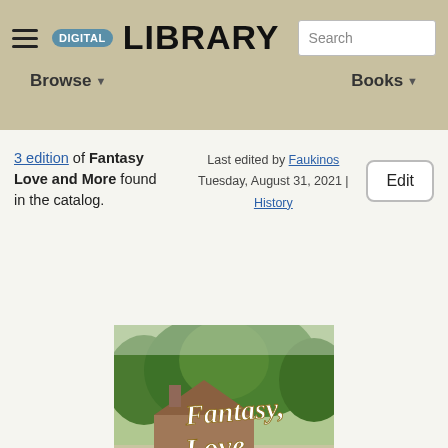DIGITAL LIBRARY | Search | Browse | Books
3 edition of Fantasy Love and More found in the catalog.
Last edited by Faukinos
Tuesday, August 31, 2021 | History
Edit
[Figure (photo): Book cover of 'Fantasy, Love, and More' by Jody Dickey, featuring a wooden gazebo in a yard with green trees, and the book title written in white cursive script.]